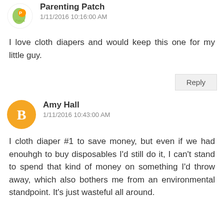[Figure (logo): Parenting Patch logo with orange patch icon]
Parenting Patch
1/11/2016 10:16:00 AM
I love cloth diapers and would keep this one for my little guy.
Reply
[Figure (logo): Blogger orange circle avatar with B icon]
Amy Hall
1/11/2016 10:43:00 AM
I cloth diaper #1 to save money, but even if we had enouhgh to buy disposables I'd still do it, I can't stand to spend that kind of money on something I'd throw away, which also bothers me from an environmental standpoint. It's just wasteful all around.
Reply